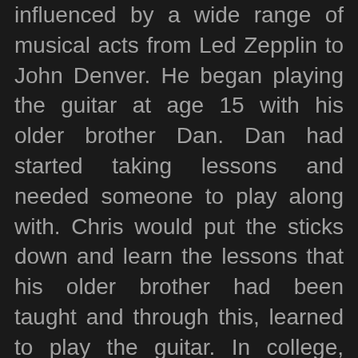influenced by a wide range of musical acts from Led Zepplin to John Denver. He began playing the guitar at age 15 with his older brother Dan. Dan had started taking lessons and needed someone to play along with. Chris would put the sticks down and learn the lessons that his older brother had been taught and through this, learned to play the guitar. In college, Chris received classical piano training from Jan Brachel, a notable performer and instructor in the Detroit area for 7 years. Eventually, Chris started hosting open mic's at the local coffee shop's and bar's in the area. Chris has worked with several notable musicians and has participated in several moments that defined Chris' drive, dedication, and mission; to play music professionally